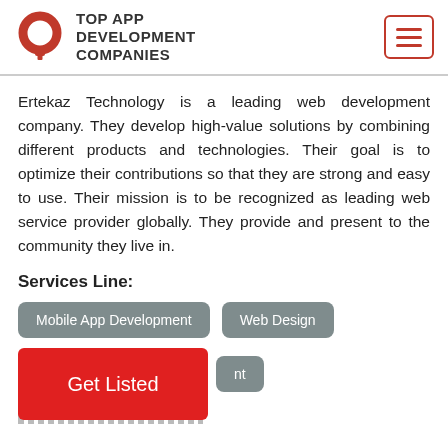TOP APP DEVELOPMENT COMPANIES
Ertekaz Technology is a leading web development company. They develop high-value solutions by combining different products and technologies. Their goal is to optimize their contributions so that they are strong and easy to use. Their mission is to be recognized as leading web service provider globally. They provide and present to the community they live in.
Services Line:
Mobile App Development
Web Design